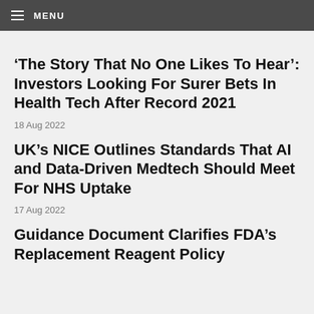MENU
‘The Story That No One Likes To Hear’: Investors Looking For Surer Bets In Health Tech After Record 2021
18 Aug 2022
UK’s NICE Outlines Standards That AI and Data-Driven Medtech Should Meet For NHS Uptake
17 Aug 2022
Guidance Document Clarifies FDA’s Replacement Reagent Policy